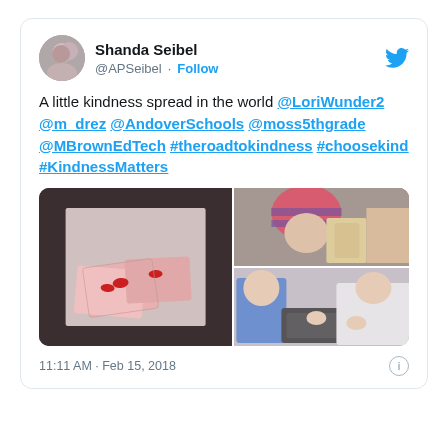Shanda Seibel @APSeibel · Follow
A little kindness spread in the world @LoriWunder2 @m_drez @AndoverSchools @moss5thgrade @MBrownEdTech #theroadtokindness #choosekind #KindnessMatters
[Figure (photo): Three photos: left shows pink gift boxes with red bow decorations on a floor; top right shows a child wearing a striped hat holding gift bags; bottom right shows a child in blue pajamas and a person in white examining contents of a box.]
11:11 AM · Feb 15, 2018